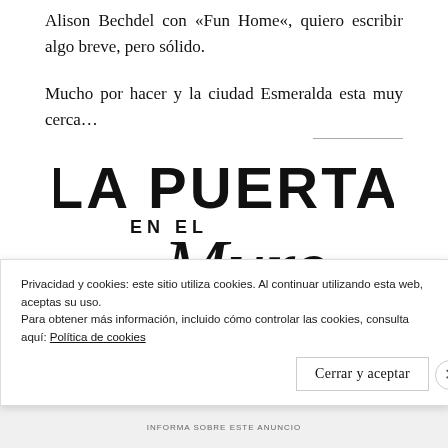Alison Bechdel con «Fun Home«, quiero escribir algo breve, pero sólido.
Mucho por hacer y la ciudad Esmeralda esta muy cerca…
[Figure (logo): Logo of 'La Puerta en el Muro' blog — bold uppercase LA PUERTA on top, EN EL in small caps, and Muro in large italic script font below]
Privacidad y cookies: este sitio utiliza cookies. Al continuar utilizando esta web, aceptas su uso.
Para obtener más información, incluido cómo controlar las cookies, consulta aquí: Política de cookies
Cerrar y aceptar